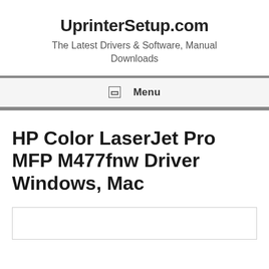UprinterSetup.com
The Latest Drivers & Software, Manual Downloads
☰  Menu
HP Color LaserJet Pro MFP M477fnw Driver Windows, Mac
[Figure (other): Empty white box with border, likely a figure or image placeholder]